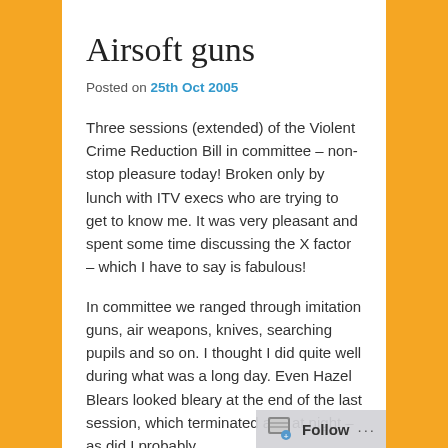Airsoft guns
Posted on 25th Oct 2005
Three sessions (extended) of the Violent Crime Reduction Bill in committee – non-stop pleasure today! Broken only by lunch with ITV execs who are trying to get to know me. It was very pleasant and spent some time discussing the X factor – which I have to say is fabulous!
In committee we ranged through imitation guns, air weapons, knives, searching pupils and so on. I thought I did quite well during what was a long day. Even Hazel Blears looked bleary at the end of the last session, which terminated at 9 at night – as did I probably.
In terms of imitation guns, I think the show-stopper was around airsoft. For those who haven't a clue what